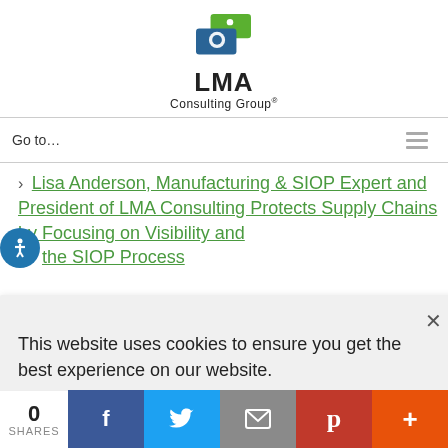[Figure (logo): LMA Consulting Group logo with green and blue icon and text 'LMA Consulting Group']
Go to...
Lisa Anderson, Manufacturing & SIOP Expert and President of LMA Consulting Protects Supply Chains by Focusing on Visibility and the SIOP Process
This website uses cookies to ensure you get the best experience on our website.
Dismiss  Accept
0 SHARES